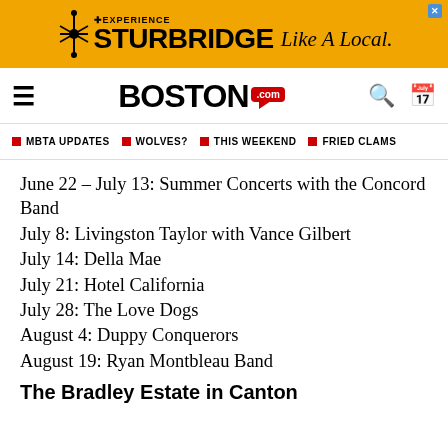[Figure (other): Experience Sturbridge Like A Local advertisement banner with yellow background and black bold text]
BOSTON .com
MBTA UPDATES  WOLVES?  THIS WEEKEND  FRIED CLAMS
June 22 – July 13: Summer Concerts with the Concord Band
July 8: Livingston Taylor with Vance Gilbert
July 14: Della Mae
July 21: Hotel California
July 28: The Love Dogs
August 4: Duppy Conquerors
August 19: Ryan Montbleau Band
The Bradley Estate in Canton